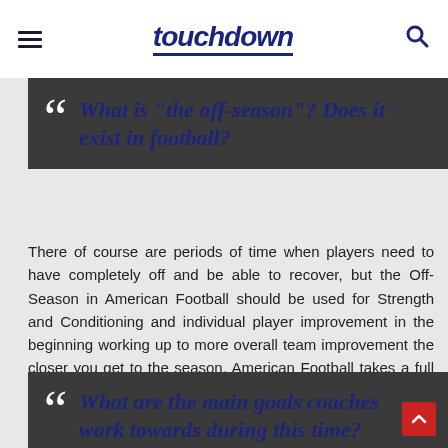touchdown
What is "the off-season"? Does it exist in football?
There of course are periods of time when players need to have completely off and be able to recover, but the Off-Season in American Football should be used for Strength and Conditioning and individual player improvement in the beginning working up to more overall team improvement the closer you get to the season. American Football takes a full year commitment to be good at, it is not a sport that you can be good at and play as a hobby.
What are the main goals coaches work towards during this time?